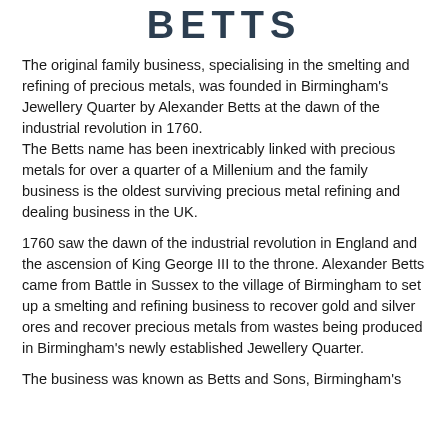BETTS
The original family business, specialising in the smelting and refining of precious metals, was founded in Birmingham's Jewellery Quarter by Alexander Betts at the dawn of the industrial revolution in 1760.
The Betts name has been inextricably linked with precious metals for over a quarter of a Millenium and the family business is the oldest surviving precious metal refining and dealing business in the UK.
1760 saw the dawn of the industrial revolution in England and the ascension of King George III to the throne. Alexander Betts came from Battle in Sussex to the village of Birmingham to set up a smelting and refining business to recover gold and silver ores and recover precious metals from wastes being produced in Birmingham's newly established Jewellery Quarter.
The business was known as Betts and Sons, Birmingham's...